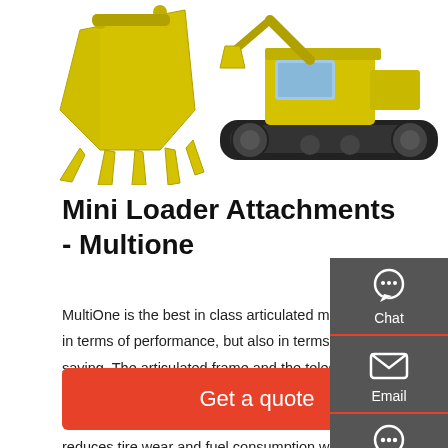[Figure (photo): Yellow excavator bucket attachment on white background and yellow mini excavator/loader machine on white background]
Mini Loader Attachments - Multione
MultiOne is the best in class articulated mini loader in terms of performance, but also in terms of cost saving. The articulated frame and the telescopic boom are top in class solutions that assure high efficiency during movement and work. MultiOne reduces tire wear and fuel consumption when turning due to the articulated frame steering, rather than counter rotation steering used ...